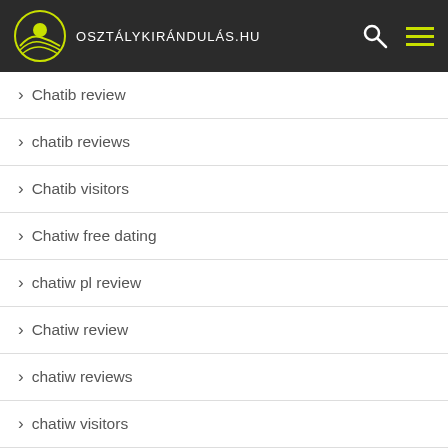osztálykirándulás.hu
Chatib review
chatib reviews
Chatib visitors
Chatiw free dating
chatiw pl review
Chatiw review
chatiw reviews
chatiw visitors
chatki mobile site
Chatki review